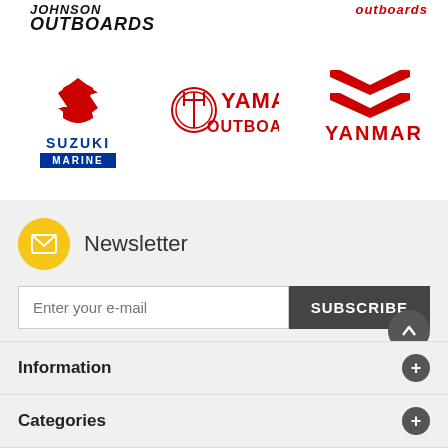[Figure (logo): Johnson Outboards logo - bold black italic text, Suzuki Marine logo with red S emblem and blue rectangle, Yamaha Outboard logo in red, Yanmar logo with red chevron marks]
Newsletter
Enter your e-mail
SUBSCRIBE
Follow us
Information
Categories